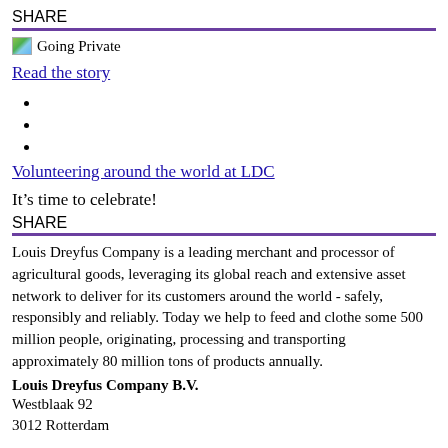SHARE
[Figure (other): Going Private thumbnail image with text]
Read the story
Volunteering around the world at LDC
It’s time to celebrate!
SHARE
Louis Dreyfus Company is a leading merchant and processor of agricultural goods, leveraging its global reach and extensive asset network to deliver for its customers around the world - safely, responsibly and reliably. Today we help to feed and clothe some 500 million people, originating, processing and transporting approximately 80 million tons of products annually.
Louis Dreyfus Company B.V.
Westblaak 92
3012 Rotterdam